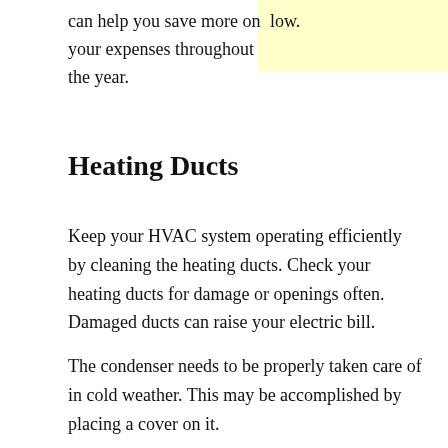can help you save more on your expenses throughout the year.
low.
Heating Ducts
Keep your HVAC system operating efficiently by cleaning the heating ducts. Check your heating ducts for damage or openings often. Damaged ducts can raise your electric bill.
The condenser needs to be properly taken care of in cold weather. This may be accomplished by placing a cover on it.